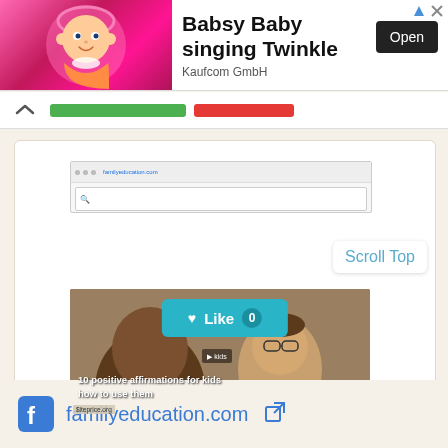[Figure (screenshot): Advertisement banner for Babsy Baby singing Twinkle by Kaufcom GmbH with animated baby image, title text, and Open button]
Babsy Baby singing Twinkle
Kaufcom GmbH
[Figure (screenshot): Website content area showing a mini browser screenshot and a video thumbnail with text '10 positive affirmations for kids how to use them' and siteprice.org watermark]
10 positive affirmations for kids how to use them
Scroll Top
Like 0
familyeducation.com